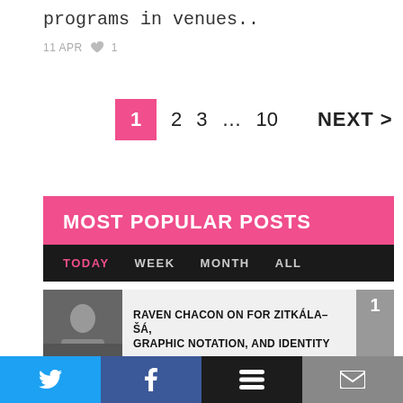programs in venues..
11 APR  ♥ 1
1  2  3  …  10  NEXT >
MOST POPULAR POSTS
TODAY  WEEK  MONTH  ALL
RAVEN CHACON ON FOR ZITKÁLA–ŠÁ, GRAPHIC NOTATION, AND IDENTITY
INAUGURAL "COMPOSING INCLUSION"